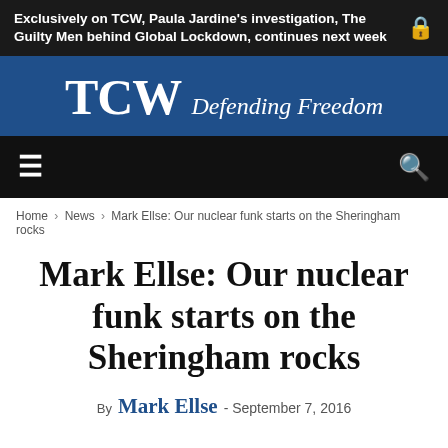Exclusively on TCW, Paula Jardine's investigation, The Guilty Men behind Global Lockdown, continues next week
[Figure (logo): TCW Defending Freedom logo — white text on dark blue background]
[Figure (screenshot): Navigation bar with hamburger menu icon on left and search icon on right, dark background]
Home › News › Mark Ellse: Our nuclear funk starts on the Sheringham rocks
Mark Ellse: Our nuclear funk starts on the Sheringham rocks
By Mark Ellse - September 7, 2016